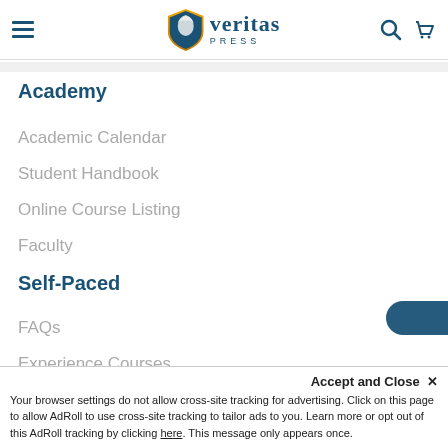[Figure (logo): Veritas Press logo with shield/eagle icon, text 'veritas' and 'PRESS' below, navigation hamburger icon on left, search and cart icons on right]
Academy
Academic Calendar
Student Handbook
Online Course Listing
Faculty
Self-Paced
FAQs
Experience Courses
Accept and Close ×
Your browser settings do not allow cross-site tracking for advertising. Click on this page to allow AdRoll to use cross-site tracking to tailor ads to you. Learn more or opt out of this AdRoll tracking by clicking here. This message only appears once.